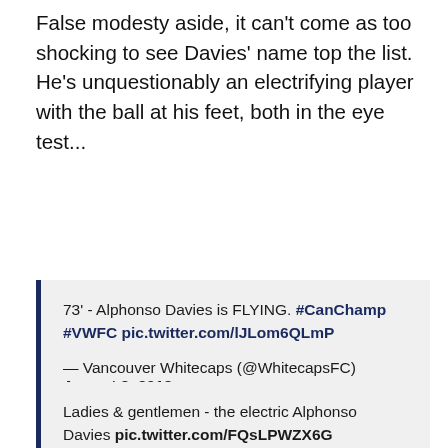False modesty aside, it can't come as too shocking to see Davies' name top the list. He's unquestionably an electrifying player with the ball at his feet, both in the eye test...
73' - Alphonso Davies is FLYING. #CanChamp #VWFC pic.twitter.com/lJLom6QLmP
— Vancouver Whitecaps (@WhitecapsFC) August 9, 2018
Ladies & gentlemen - the electric Alphonso Davies pic.twitter.com/FQsLPWZX6G